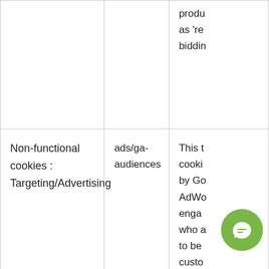|  |  | produ
as 're
biddin |
| Non-functional cookies : Targeting/Advertising | ads/ga-audiences | This t
cookies
by Go
AdWo
engage
who a
to be
custo
based
line
hav
across |